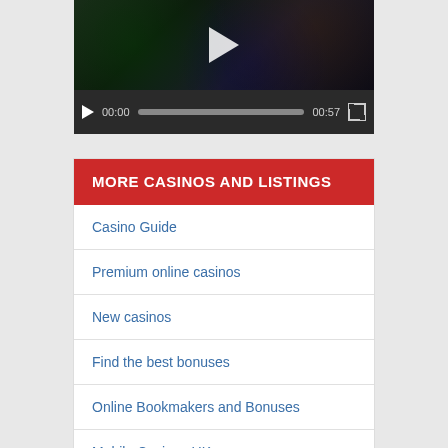[Figure (screenshot): Video player showing a dark fantasy/slots game screen with play button overlay. Controls bar shows play button, timestamp 00:00, progress bar, duration 00:57, and fullscreen button.]
MORE CASINOS AND LISTINGS
Casino Guide
Premium online casinos
New casinos
Find the best bonuses
Online Bookmakers and Bonuses
Mobile Casinos UK
Trustly Casinos
Skrill casinos